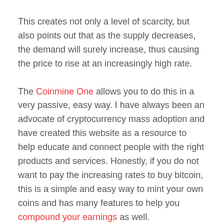This creates not only a level of scarcity, but also points out that as the supply decreases, the demand will surely increase, thus causing the price to rise at an increasingly high rate.
The Coinmine One allows you to do this in a very passive, easy way. I have always been an advocate of cryptocurrency mass adoption and have created this website as a resource to help educate and connect people with the right products and services. Honestly, if you do not want to pay the increasing rates to buy bitcoin, this is a simple and easy way to mint your own coins and has many features to help you compound your earnings as well.